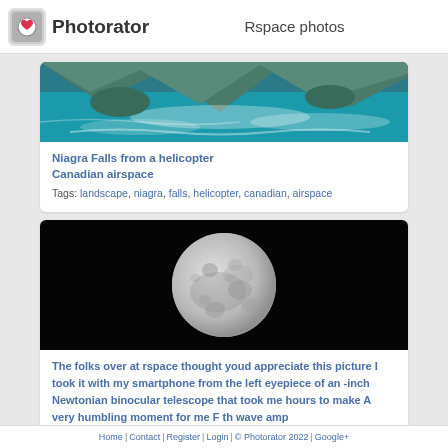Photorator — Rspace photos
[Figure (photo): Aerial photo of Niagara Falls showing turquoise water and rocky landscape from helicopter]
Niagra Falls from a helicopter Canadian airspace
Tags: landscape, niagra, falls, helicopter, canadian, airspace
[Figure (photo): Photo of the moon against a black background, taken through a Newtonian binocular telescope with a smartphone]
The folks over at rspace thought youd appreciate this picture I took it with my smartphone from the left eyepiece of an -inch Newtonian binocular telescope that took me hours to make A very humbling moment for me F th wave amp
Home | Contact | Register | Login | © Photorator 2022 | Google+